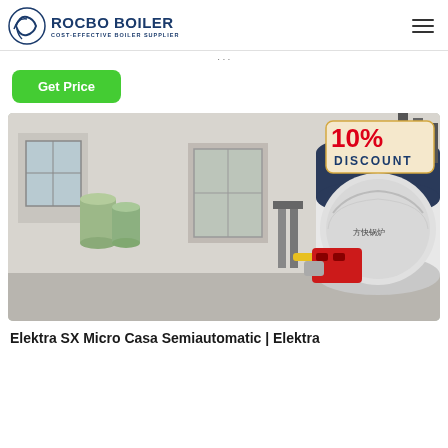[Figure (logo): Rocbo Boiler logo with circular wave icon and text 'ROCBO BOILER / COST-EFFECTIVE BOILER SUPPLIER']
Get Price
[Figure (photo): Industrial boiler installation in a factory room. Large cylindrical boiler with dark navy and silver casing, red burner attachment, Chinese text on front. Water treatment tanks on the left, pumps and yellow gas pipes in background. 10% DISCOUNT badge overlaid top-right corner.]
Elektra SX Micro Casa Semiautomatic | Elektra